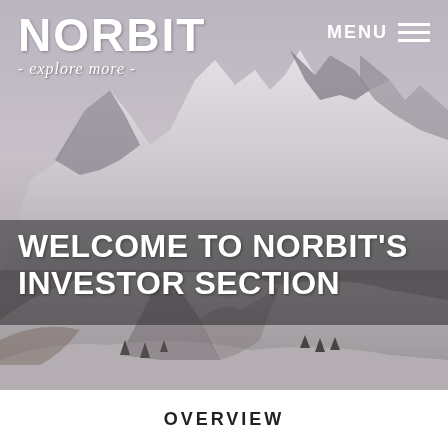[Figure (photo): Snow-covered mountain peaks with dramatic lighting, grey-blue sky, winter alpine landscape serving as background for the Norbit investor section webpage]
NORBIT
- explore more -
MENU ≡
WELCOME TO NORBIT'S INVESTOR SECTION
OVERVIEW